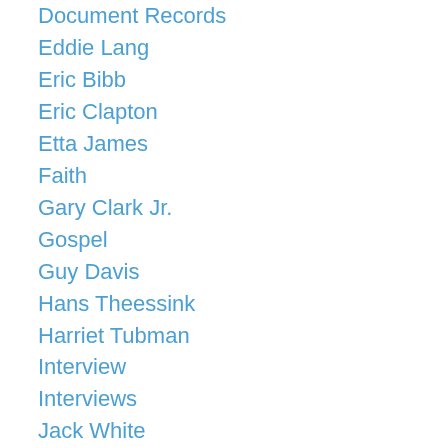Document Records
Eddie Lang
Eric Bibb
Eric Clapton
Etta James
Faith
Gary Clark Jr.
Gospel
Guy Davis
Hans Theessink
Harriet Tubman
Interview
Interviews
Jack White
Jo Harman
Joe Bonamassa
Joe Louis Walker
Kaz Hawkins
Keb Mo
Kelly Joe Phelps